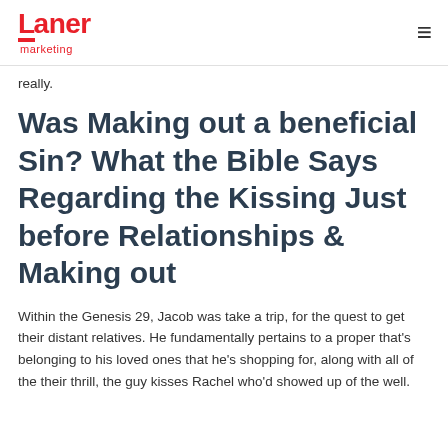Laner marketing
really.
Was Making out a beneficial Sin? What the Bible Says Regarding the Kissing Just before Relationships & Making out
Within the Genesis 29, Jacob was take a trip, for the quest to get their distant relatives. He fundamentally pertains to a proper that's belonging to his loved ones that he's shopping for, along with all of the their thrill, the guy kisses Rachel who'd showed up of the well.